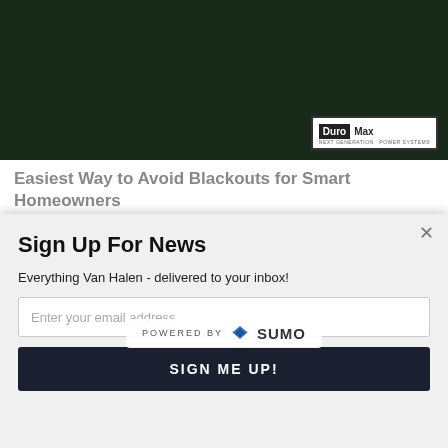[Figure (photo): Dark outdoor nighttime scene with DuroMax Power Equipment logo badge in bottom right corner]
Easiest Way to Avoid Blackouts for Smart Homeowners
DuroMax Power Equipment
Learn More
[Figure (photo): Close-up of a person's eyes/eyelashes with a 'POWERED BY SUMO' badge overlaid in the center]
Sign Up For News
Everything Van Halen - delivered to your inbox!
Enter your email address
SIGN ME UP!